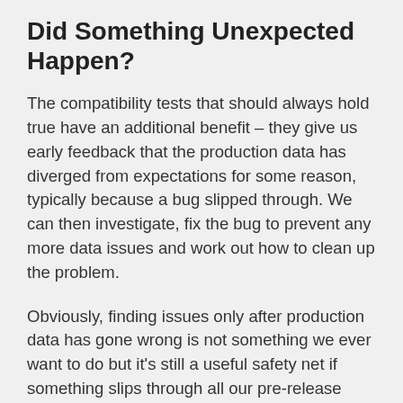Did Something Unexpected Happen?
The compatibility tests that should always hold true have an additional benefit – they give us early feedback that the production data has diverged from expectations for some reason, typically because a bug slipped through. We can then investigate, fix the bug to prevent any more data issues and work out how to clean up the problem.
Obviously, finding issues only after production data has gone wrong is not something we ever want to do but it's still a useful safety net if something slips through all our pre-release testing and the database schema constraints